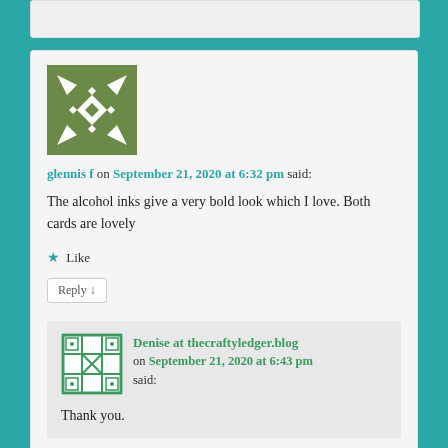glennis f on September 21, 2020 at 6:32 pm said:
The alcohol inks give a very bold look which I love. Both cards are lovely
Like
Reply ↓
Denise at thecraftyledger.blog on September 21, 2020 at 6:43 pm said:
Thank you.